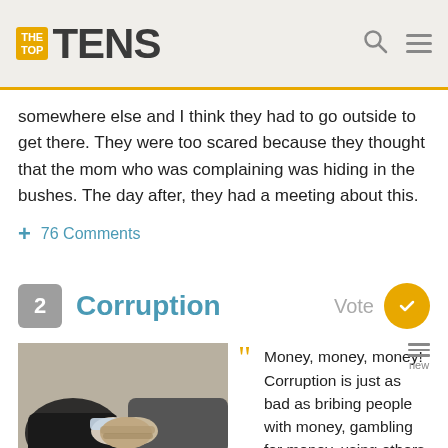THE TOP TENS
somewhere else and I think they had to go outside to get there. They were too scared because they thought that the mom who was complaining was hiding in the bushes. The day after, they had a meeting about this.
+ 76 Comments
2 Corruption
[Figure (photo): Two people in suits shaking hands over a wooden table, with money visible, suggesting a bribe or corrupt deal.]
Money, money, money! Corruption is just as bad as bribing people with money, gambling for money, using others for their money and money